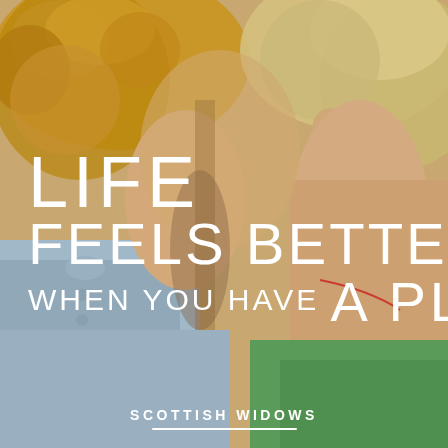[Figure (photo): Close-up photo of two people, a curly-haired child in a light blue denim shirt and a blonde adult (parent) in a green top, facing each other in an intimate moment.]
LIFE FEELS BETTER WHEN YOU HAVE A PLAN
[Figure (logo): Scottish Widows logo: white uppercase text 'SCOTTISH WIDOWS' with a white underline swoosh beneath it.]